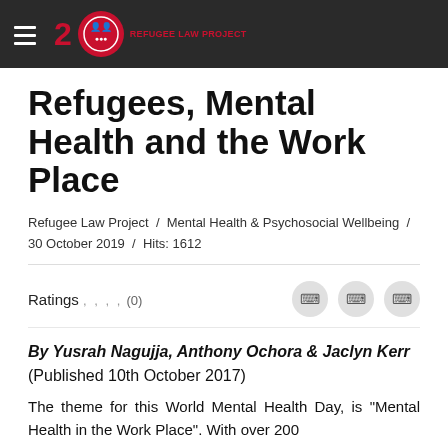Refugee Law Project
Refugees, Mental Health and the Work Place
Refugee Law Project / Mental Health & Psychosocial Wellbeing / 30 October 2019 / Hits: 1612
Ratings , , , , (0)
By Yusrah Nagujja, Anthony Ochora & Jaclyn Kerr (Published 10th October 2017)
The theme for this World Mental Health Day, is "Mental Health in the Work Place". With over 200